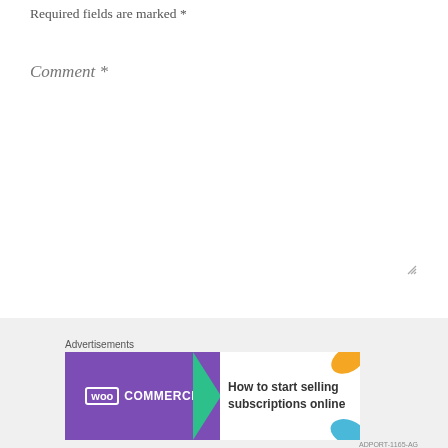Required fields are marked *
Comment *
[Figure (screenshot): Comment text area input box with resize handle at bottom right]
[Figure (screenshot): Close/dismiss button (X in circle) on the right side]
Advertisements
[Figure (illustration): WooCommerce advertisement banner: purple left section with WooCommerce logo and green arrow, white right section with text 'How to start selling subscriptions online' and decorative colored leaf shapes in corner]